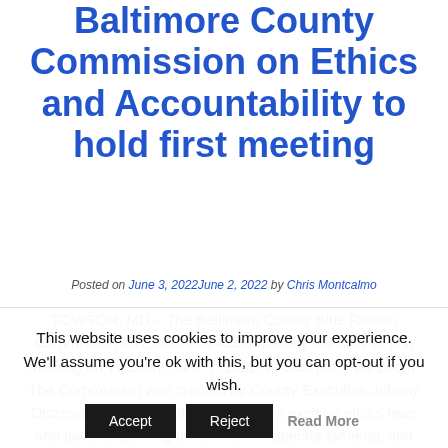Baltimore County Commission on Ethics and Accountability to hold first meeting
Posted on June 3, 2022June 2, 2022 by Chris Montcalmo
TOWSON, MD – The Baltimore County Blue Ribbon Commission on Ethics and Accountability will hold its first meeting on Tuesday, June 7, 2022, at 5:30 p.m., via Zoom. The Commission was created by County Executive Johnny Olszewski to study Baltimore County's existing ethics laws and laws concerning the Office of Inspector General, and provide recommendations to ensure
This website uses cookies to improve your experience. We'll assume you're ok with this, but you can opt-out if you wish.